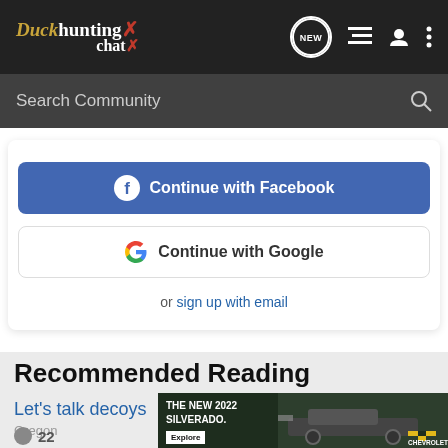Duck hunting chat
Search Community
Continue with Facebook
Continue with Google
or sign up with email
Recommended Reading
Let's talk decoys
Oregon
22
[Figure (photo): Advertisement for The New 2022 Silverado by Chevrolet, showing a dark-colored truck in a wooded setting with an Explore button]